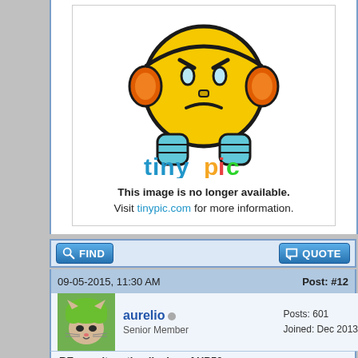[Figure (illustration): Tinypic broken image placeholder: angry yellow emoji face with orange headphones and blue shirt, with 'tinypic' logo text and message 'This image is no longer available. Visit tinypic.com for more information.']
FIND
QUOTE
09-05-2015, 11:30 AM	Post: #12
[Figure (photo): Avatar: cat wearing green wig]
aurelio
Senior Member
Posts: 601
Joined: Dec 2013
RE: result on the display of HP50g